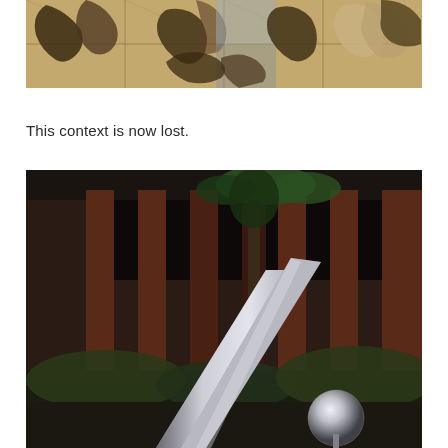[Figure (photo): Close-up photo of a stone/tile mosaic or mural on a floor or wall, showing abstract human figures carved or painted in dark on tan/beige stone tiles with grid lines visible.]
This context is now lost.
[Figure (photo): Outdoor photo of two metallic sculptures in front of a red-brick building with ivy. The larger sculpture is a tall conical/funnel-shaped stainless steel form, and the smaller is a reflective chrome sphere resting on a base. Green shrubbery surrounds them.]